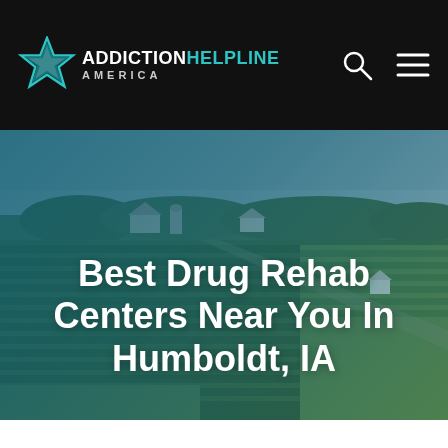ADDICTION HELPLINE AMERICA
[Figure (photo): Aerial farmland landscape with green fields, crops, farm buildings and treeline in the background, Iowa countryside]
Best Drug Rehab Centers Near You In Humboldt, IA